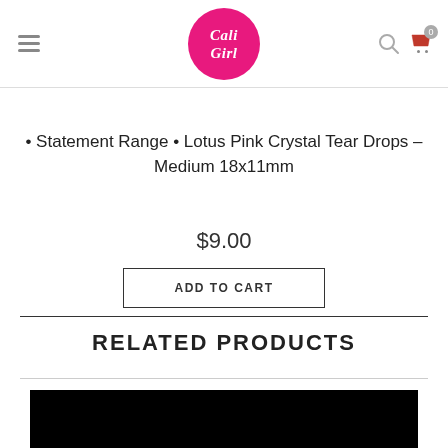Cali Girl — navigation header with logo, hamburger menu, search, and cart (0 items)
• Statement Range • Lotus Pink Crystal Tear Drops – Medium 18x11mm
$9.00
ADD TO CART
RELATED PRODUCTS
[Figure (photo): Product image area shown as black rectangle at bottom of page]